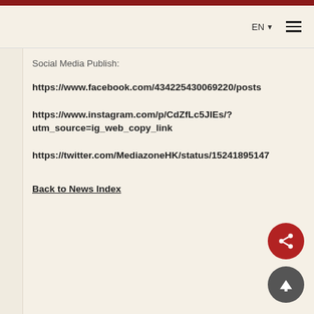EN ☰
Social Media Publish:
https://www.facebook.com/434225430069220/posts
https://www.instagram.com/p/CdZfLc5JIEs/?utm_source=ig_web_copy_link
https://twitter.com/MediazoneHK/status/152418951417
Back to News Index